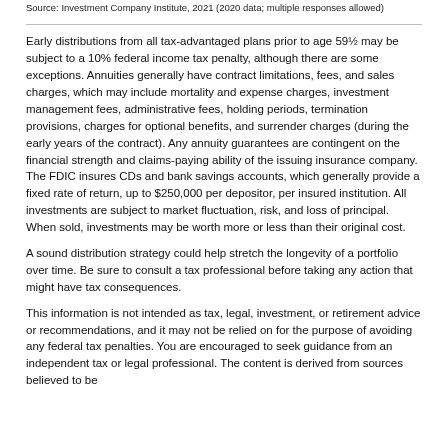Source: Investment Company Institute, 2021 (2020 data; multiple responses allowed)
Early distributions from all tax-advantaged plans prior to age 59½ may be subject to a 10% federal income tax penalty, although there are some exceptions. Annuities generally have contract limitations, fees, and sales charges, which may include mortality and expense charges, investment management fees, administrative fees, holding periods, termination provisions, charges for optional benefits, and surrender charges (during the early years of the contract). Any annuity guarantees are contingent on the financial strength and claims-paying ability of the issuing insurance company. The FDIC insures CDs and bank savings accounts, which generally provide a fixed rate of return, up to $250,000 per depositor, per insured institution. All investments are subject to market fluctuation, risk, and loss of principal. When sold, investments may be worth more or less than their original cost.
A sound distribution strategy could help stretch the longevity of a portfolio over time. Be sure to consult a tax professional before taking any action that might have tax consequences.
This information is not intended as tax, legal, investment, or retirement advice or recommendations, and it may not be relied on for the purpose of avoiding any federal tax penalties. You are encouraged to seek guidance from an independent tax or legal professional. The content is derived from sources believed to be